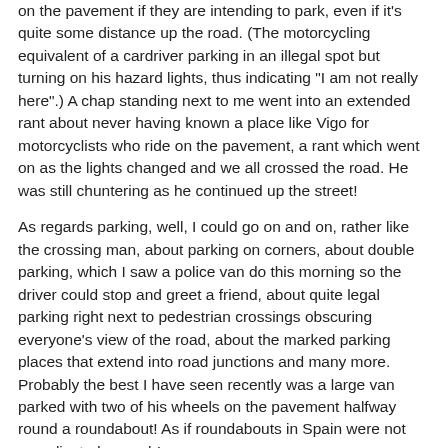on the pavement if they are intending to park, even if it's quite some distance up the road. (The motorcycling equivalent of a cardriver parking in an illegal spot but turning on his hazard lights, thus indicating "I am not really here".) A chap standing next to me went into an extended rant about never having known a place like Vigo for motorcyclists who ride on the pavement, a rant which went on as the lights changed and we all crossed the road. He was still chuntering as he continued up the street!
As regards parking, well, I could go on and on, rather like the crossing man, about parking on corners, about double parking, which I saw a police van do this morning so the driver could stop and greet a friend, about quite legal parking right next to pedestrian crossings obscuring everyone's view of the road, about the marked parking places that extend into road junctions and many more. Probably the best I have seen recently was a large van parked with two of his wheels on the pavement halfway round a roundabout! As if roundabouts in Spain were not complicated enough!
These are just a few oddities noticed in the last week!